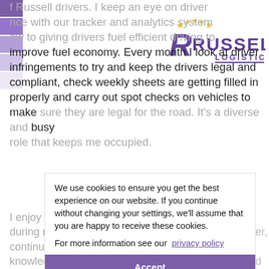[Figure (logo): Russell Logistics logo with stylized R and stars in purple and gold]
f Russell drivers. I keep an eye on driver nce with our tracker and analytics system ew to giving drivers fuel efficient driving to improve fuel economy. Every month I look at driver infringements to try and keep the drivers legal and compliant, check weekly sheets are getting filled in properly and carry out spot checks on vehicles to make sure they are legal for the road. It's a diverse and busy role that keeps me occupied.
I enjoy the variety of the role and have learned a lot during my 26 years as a driver, supervisor and trainer, continuing to learn every day. I like passing on my knowledge and helping drivers new and experienced in their everyday jobs. Bringing new drivers into the company and giving newly qualified drivers an opportunity to start a career gives me huge job
We use cookies to ensure you get the best experience on our website. If you continue without changing your settings, we'll assume that you are happy to receive these cookies. For more information see our privacy policy
Accept